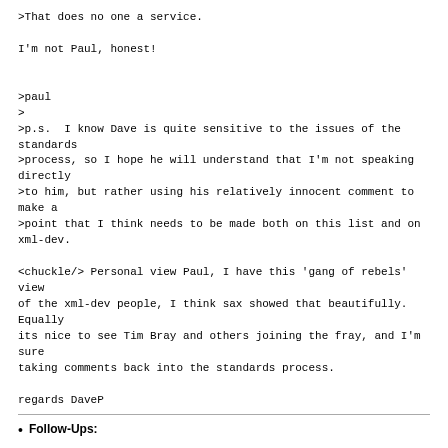>That does no one a service.

I'm not Paul, honest!


>paul
>
>p.s.  I know Dave is quite sensitive to the issues of the standards
>process, so I hope he will understand that I'm not speaking directly
>to him, but rather using his relatively innocent comment to make a
>point that I think needs to be made both on this list and on xml-dev.

<chuckle/> Personal view Paul, I have this 'gang of rebels' view
of the xml-dev people, I think sax showed that beautifully. Equally
its nice to see Tim Bray and others joining the fray, and I'm sure
taking comments back into the standards process.

regards DaveP
Follow-Ups: